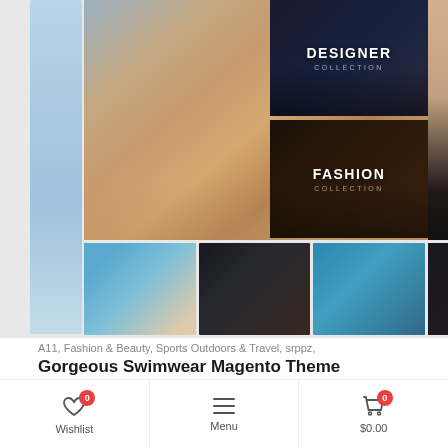[Figure (screenshot): Screenshot of a swimwear/fashion e-commerce website showing a collage of swimwear product images including a main hero image of a woman in a swimsuit by a pool, panels labeled DESIGNER COLLECTION and FASHION COLLECTION, and a bottom row of thumbnail images]
A11, Fashion & Beauty, Sports Outdoors & Travel, srppz,
Gorgeous Swimwear Magento Theme
$20.00 $179.00
Brand: Magento
[Figure (screenshot): Partial screenshot of a KitchenTools themed website showing navigation icons]
Wishlist 0
Menu
$0.00 0